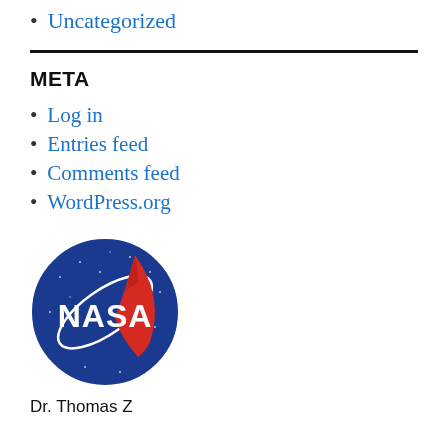Uncategorized
META
Log in
Entries feed
Comments feed
WordPress.org
[Figure (logo): NASA meatball logo — circular blue background with white NASA lettering and red swoosh]
Dr. Thomas Z